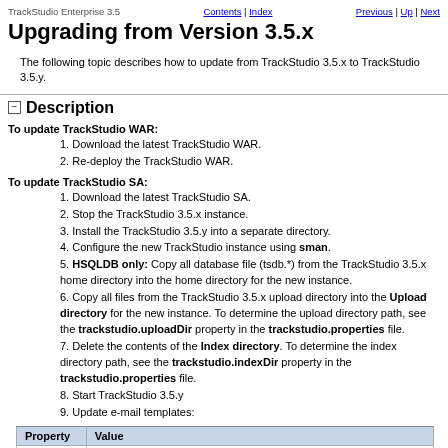TrackStudio Enterprise 3.5    Contents | Index    Previous | Up | Next
Upgrading from Version 3.5.x
The following topic describes how to update from TrackStudio 3.5.x to TrackStudio 3.5.y.
Description
To update TrackStudio WAR:
1. Download the latest TrackStudio WAR.
2. Re-deploy the TrackStudio WAR.
To update TrackStudio SA:
1. Download the latest TrackStudio SA.
2. Stop the TrackStudio 3.5.x instance.
3. Install the TrackStudio 3.5.y into a separate directory.
4. Configure the new TrackStudio instance using sman.
5. HSQLDB only: Copy all database file (tsdb.*) from the TrackStudio 3.5.x home directory into the home directory for the new instance.
6. Copy all files from the TrackStudio 3.5.x upload directory into the Upload directory for the new instance. To determine the upload directory path, see the trackstudio.uploadDir property in the trackstudio.properties file.
7. Delete the contents of the Index directory. To determine the index directory path, see the trackstudio.indexDir property in the trackstudio.properties file.
8. Start TrackStudio 3.5.y
9. Update e-mail templates:
| Property | Value |
| --- | --- |
| Subject | <${task.getProjectAlias()} | ${addval.reason} | ${addval.task\ViewFactory.inEmailText(task).getNumber()}>: |